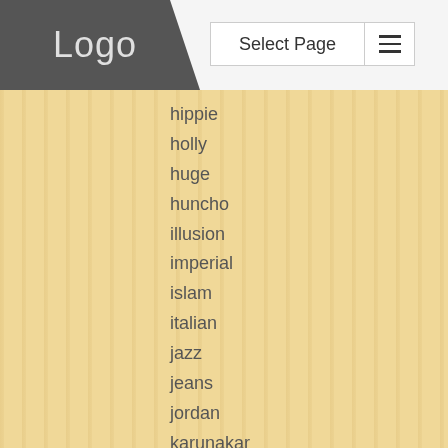[Figure (logo): Gray diagonal banner with 'Logo' text in light gray]
Select Page
hippie
holly
huge
huncho
illusion
imperial
islam
italian
jazz
jeans
jordan
karunakar
know
knowledge
ladies
lamb
learn
liberalism
lies
limited
litmus
live